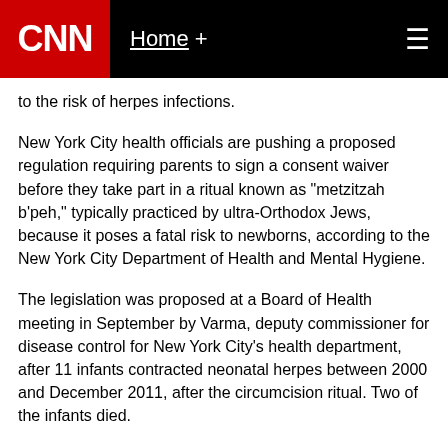CNN | Home +
to the risk of herpes infections.
New York City health officials are pushing a proposed regulation requiring parents to sign a consent waiver before they take part in a ritual known as "metzitzah b'peh," typically practiced by ultra-Orthodox Jews, because it poses a fatal risk to newborns, according to the New York City Department of Health and Mental Hygiene.
The legislation was proposed at a Board of Health meeting in September by Varma, deputy commissioner for disease control for New York City's health department, after 11 infants contracted neonatal herpes between 2000 and December 2011, after the circumcision ritual. Two of the infants died.
Jews regularly practice circumcision as part of their religious tradition. Ultra-Orthodox Jews practice metzitzah b'peh, during which the mohel, or rabbi performing the procedure, orally sucks the blood from the infant's circumcised penis.
CNN's Belief Blog: The faith angles behind the biggest stories